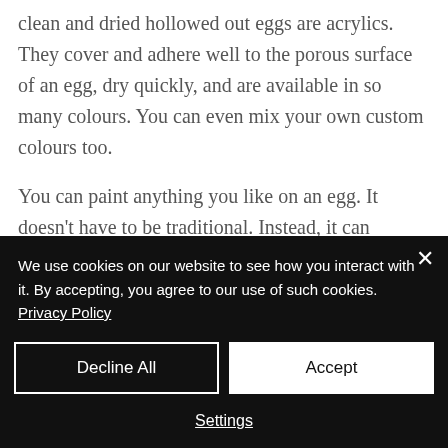clean and dried hollowed out eggs are acrylics. They cover and adhere well to the porous surface of an egg, dry quickly, and are available in so many colours. You can even mix your own custom colours too.
You can paint anything you like on an egg. It doesn't have to be traditional. Instead, it can represent you. Think of the egg as another surface for your art.
We use cookies on our website to see how you interact with it. By accepting, you agree to our use of such cookies. Privacy Policy
Decline All
Accept
Settings